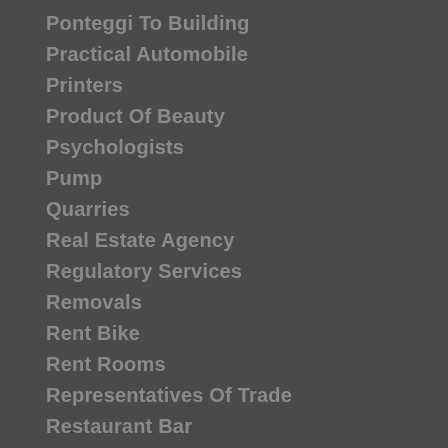Ponteggi To Building
Practical Automobile
Printers
Product Of Beauty
Psychologists
Pump
Quarries
Real Estate Agency
Regulatory Services
Removals
Rent Bike
Rent Rooms
Representatives Of Trade
Restaurant Bar
Road Haulage
Roller
Sacks